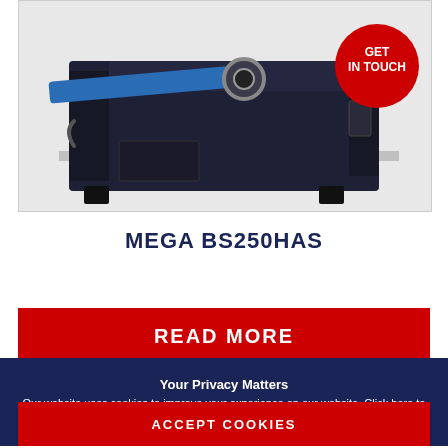[Figure (photo): MEGA BS250HAS industrial band saw machine shown from the side, dark navy/black body with blue horizontal arm and circular wheel mechanism. Red 'GET IN TOUCH' circle badge overlaid top-right.]
MEGA BS250HAS
READ MORE
Your Privacy Matters
Our website uses cookies to improve your experience on our website. Click here to read our privacy policy.
ACCEPT COOKIES